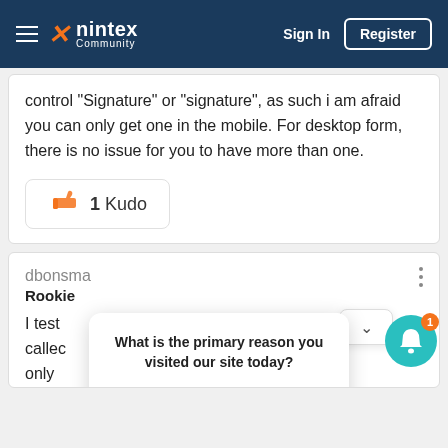nintex Community — Sign In | Register
control "Signature" or "signature", as such i am afraid you can only get one in the mobile. For desktop form, there is no issue for you to have more than one.
1 Kudo
dbonsma
Rookie
I test... called... only...
What is the primary reason you visited our site today?
Reply